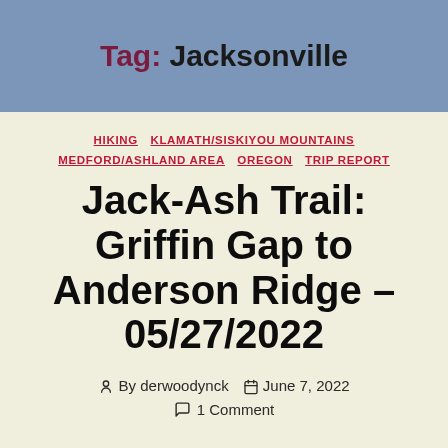Tag: Jacksonville
HIKING  KLAMATH/SISKIYOU MOUNTAINS  MEDFORD/ASHLAND AREA  OREGON  TRIP REPORT
Jack-Ash Trail: Griffin Gap to Anderson Ridge – 05/27/2022
By derwoodynck  June 7, 2022  1 Comment